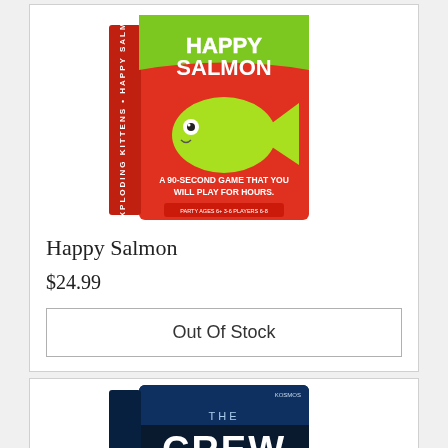[Figure (photo): Happy Salmon board game box with red background, green fish, and text 'A 90-second game that you will play for hours']
Happy Salmon
$24.99
Out Of Stock
[Figure (photo): The Crew Mission Deep Sea board game box with dark blue/teal underwater theme]